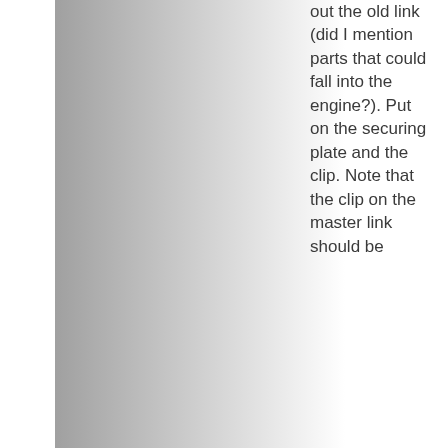[Figure (photo): Gradient panel showing a mechanical/engine part, fading from dark gray on the left to white on the right.]
out the old link (did I mention parts that could fall into the engine?). Put on the securing plate and the clip. Note that the clip on the master link should be